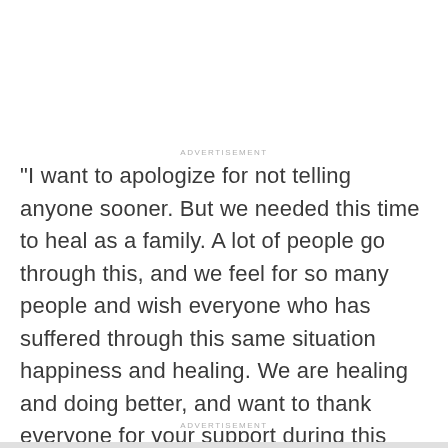ADVERTISEMENT
"I want to apologize for not telling anyone sooner. But we needed this time to heal as a family. A lot of people go through this, and we feel for so many people and wish everyone who has suffered through this same situation happiness and healing. We are healing and doing better, and want to thank everyone for your support during this very difficult time," continued the 90 Day Fiancé star.
ADVERTISEMENT